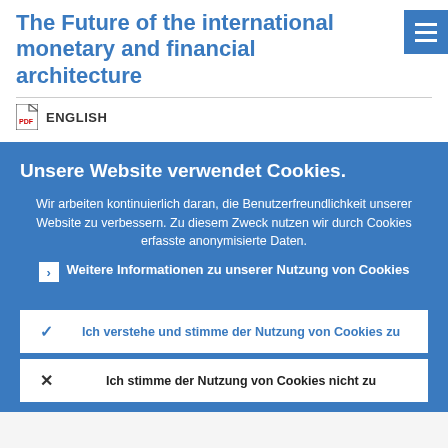The Future of the international monetary and financial architecture
ENGLISH
Unsere Website verwendet Cookies.
Wir arbeiten kontinuierlich daran, die Benutzerfreundlichkeit unserer Website zu verbessern. Zu diesem Zweck nutzen wir durch Cookies erfasste anonymisierte Daten.
Weitere Informationen zu unserer Nutzung von Cookies
Ich verstehe und stimme der Nutzung von Cookies zu
Ich stimme der Nutzung von Cookies nicht zu